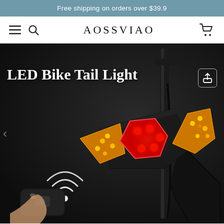Free shipping on orders over $39.9
AOSSVIAO
[Figure (photo): Product photo of an LED Bike Tail Light mounted on a bicycle handlebar post, showing amber/yellow arrow-shaped LEDs on the sides and a red hexagonal LED in the center, with a wireless remote control visible in the lower left. Dark background with the product illuminated.]
LED Bike Tail Light